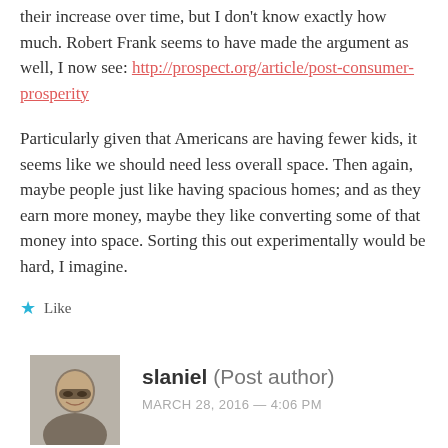their increase over time, but I don't know exactly how much. Robert Frank seems to have made the argument as well, I now see: http://prospect.org/article/post-consumer-prosperity
Particularly given that Americans are having fewer kids, it seems like we should need less overall space. Then again, maybe people just like having spacious homes; and as they earn more money, maybe they like converting some of that money into space. Sorting this out experimentally would be hard, I imagine.
★ Like
[Figure (photo): Avatar photo of commenter slaniel, a person wearing glasses]
slaniel (Post author)
MARCH 28, 2016 — 4:06 PM
For the record, it turns out that the top few of my neighbors...